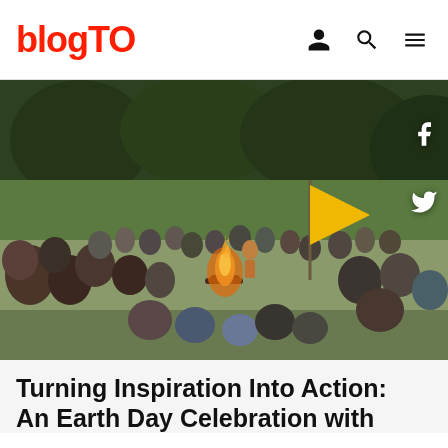blogTO
[Figure (photo): Large group of people gathered outdoors in a wooded area, sitting in a circle around a bonfire at dusk. A yellow triangular flag is visible on a pole. Trees surround the gathering in the background.]
Turning Inspiration Into Action: An Earth Day Celebration with